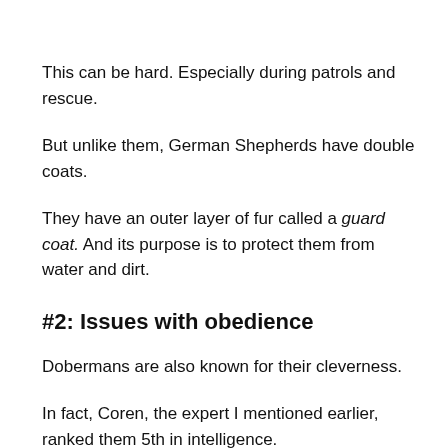This can be hard. Especially during patrols and rescue.
But unlike them, German Shepherds have double coats.
They have an outer layer of fur called a guard coat. And its purpose is to protect them from water and dirt.
#2: Issues with obedience
Dobermans are also known for their cleverness.
In fact, Coren, the expert I mentioned earlier, ranked them 5th in intelligence.